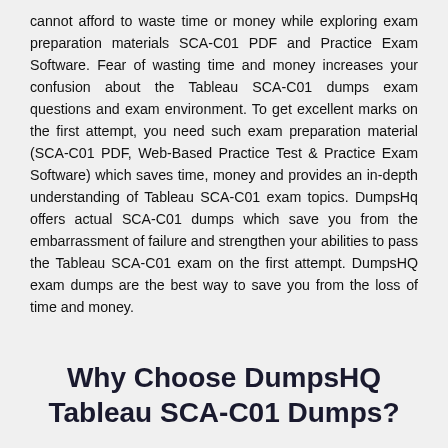cannot afford to waste time or money while exploring exam preparation materials SCA-C01 PDF and Practice Exam Software. Fear of wasting time and money increases your confusion about the Tableau SCA-C01 dumps exam questions and exam environment. To get excellent marks on the first attempt, you need such exam preparation material (SCA-C01 PDF, Web-Based Practice Test & Practice Exam Software) which saves time, money and provides an in-depth understanding of Tableau SCA-C01 exam topics. DumpsHq offers actual SCA-C01 dumps which save you from the embarrassment of failure and strengthen your abilities to pass the Tableau SCA-C01 exam on the first attempt. DumpsHQ exam dumps are the best way to save you from the loss of time and money.
Why Choose DumpsHQ Tableau SCA-C01 Dumps?